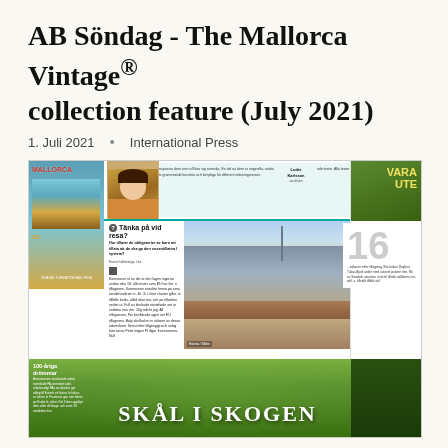AB Söndag - The Mallorca Vintage® collection feature (July 2021)
1. Juli 2021  •  International Press
[Figure (screenshot): A screenshot of a Swedish newspaper page (AB Söndag) featuring a travel section titled 'Nytt & Utvalt resor', with content about Mallorca including a vintage travel book cover, a cityscape photo of Tallinn/Estonia, columns of Swedish text about travel, a 'VARA UTE' section, a '16' feature number, and a bottom spread titled 'SKÅL I SKOGEN' with forest imagery.]